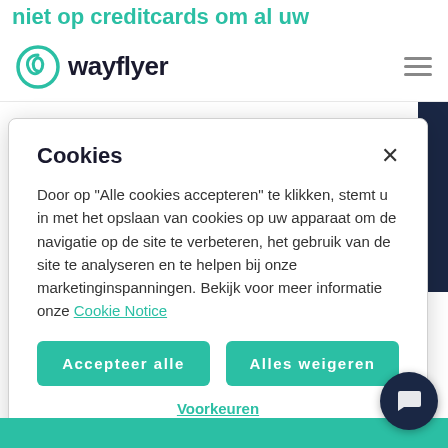niet op creditcards om al uw bedrijfskosten te
[Figure (logo): Wayflyer logo with teal swirl icon and wordmark]
Cookies
Door op "Alle cookies accepteren" te klikken, stemt u in met het opslaan van cookies op uw apparaat om de navigatie op de site te verbeteren, het gebruik van de site te analyseren en te helpen bij onze marketinginspanningen. Bekijk voor meer informatie onze Cookie Notice
Accepteer alle
Alles weigeren
Voorkeuren